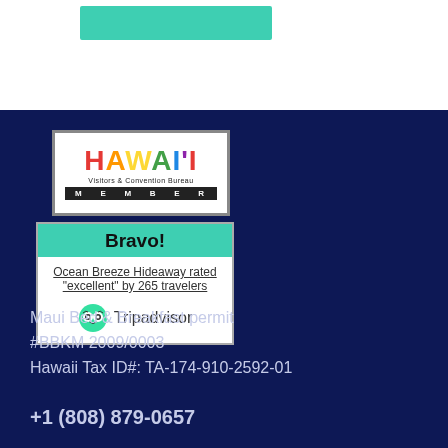[Figure (logo): Hawaii Visitors & Convention Bureau Member logo with colorful HAWAI'I text and MEMBER bar]
[Figure (infographic): Bravo! box with teal header, Ocean Breeze Hideaway rated 'excellent' by 265 travelers, Tripadvisor logo and owl icon]
Maui Bed & Breakfast permit
#BBKM 2009/0003
Hawaii Tax ID#: TA-174-910-2592-01
+1 (808) 879-0657